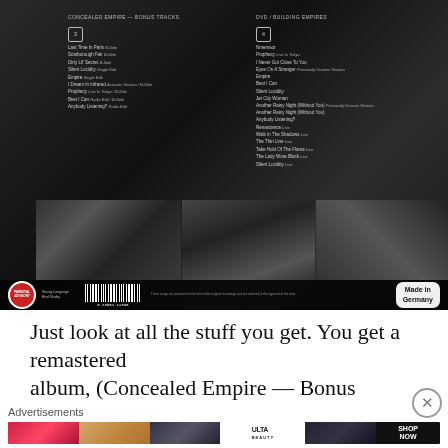[Figure (photo): CD/DVD box set back cover showing track listings for discs 3 and 4, black and white photos of artist at bottom, parental advisory label, barcode, and 'Made in Germany' badge]
Just look at all the stuff you get. You get a remastered album, (Concealed Empire — Bonus Tracks), (Live at...
Advertisements
[Figure (photo): ULTA Beauty advertisement banner showing makeup imagery (lips, brush, eyes) with SHOP NOW call to action]